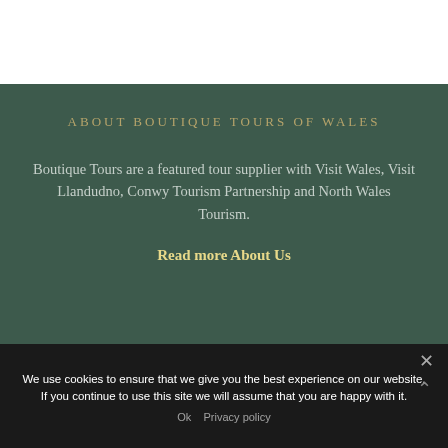ABOUT BOUTIQUE TOURS OF WALES
Boutique Tours are a featured tour supplier with Visit Wales, Visit Llandudno, Conwy Tourism Partnership and North Wales Tourism.
Read more About Us
We use cookies to ensure that we give you the best experience on our website. If you continue to use this site we will assume that you are happy with it.
Ok   Privacy policy